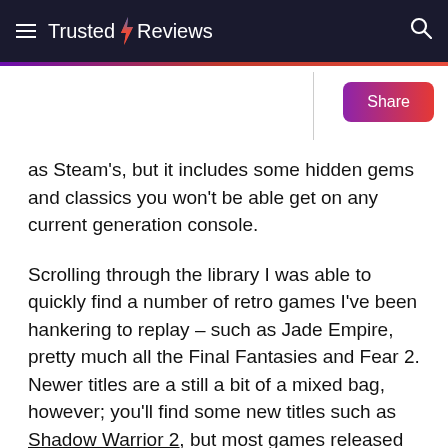Trusted Reviews
as Steam's, but it includes some hidden gems and classics you won't be able get on any current generation console.
Scrolling through the library I was able to quickly find a number of retro games I've been hankering to replay – such as Jade Empire, pretty much all the Final Fantasies and Fear 2. Newer titles are a still a bit of a mixed bag, however; you'll find some new titles such as Shadow Warrior 2, but most games released within the past few months are noticeably absent.
The gaming experience itself is great. Games easily streamed on my BT Infinity Broadband connection and I didn't suffer any serious drops in frame rate or network errors during my time with the Shield TV. Downloading